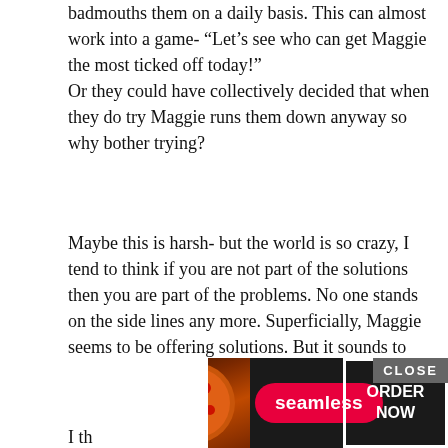badmouths them on a daily basis. This can almost work into a game- “Let’s see who can get Maggie the most ticked off today!”
Or they could have collectively decided that when they do try Maggie runs them down anyway so why bother trying?
Maybe this is harsh- but the world is so crazy, I tend to think if you are not part of the solutions then you are part of the problems. No one stands on the side lines any more. Superficially, Maggie seems to be offering solutions. But it sounds to me like she has ten negative comments for every one solution she offers. I have fallen for this illusion before. I thought the person was helpful but reality is they are not helpful.
I th... very tim... a
[Figure (other): Seamless food delivery advertisement banner with pizza image, Seamless logo in red pill, and ORDER NOW button with white border. CLOSE button in top right corner.]